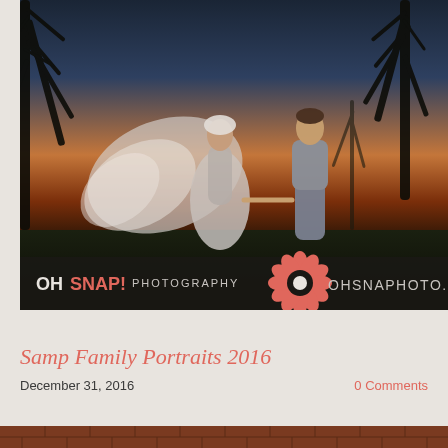[Figure (photo): Wedding photo of a bride and groom holding hands at sunset/dusk outdoors. The bride's veil is blowing dramatically in the wind. Bare winter trees are visible against an orange and blue twilight sky. An Oh Snap! Photography watermark banner appears at the bottom of the image with a red poppy logo.]
Samp Family Portraits 2016
December 31, 2016
0 Comments